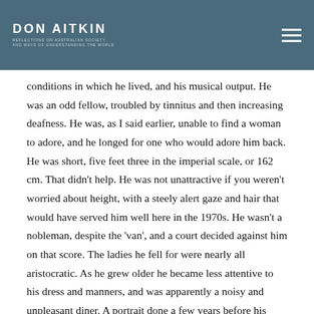DON AITKIN
conditions in which he lived, and his musical output. He was an odd fellow, troubled by tinnitus and then increasing deafness. He was, as I said earlier, unable to find a woman to adore, and he longed for one who would adore him back. He was short, five feet three in the imperial scale, or 162 cm. That didn't help. He was not unattractive if you weren't worried about height, with a steely alert gaze and hair that would have served him well here in the 1970s. He wasn't a nobleman, despite the 'van', and a court decided against him on that score. The ladies he fell for were nearly all aristocratic. As he grew older he became less attentive to his dress and manners, and was apparently a noisy and unpleasant diner. A portrait done a few years before his death showed that he aged quickly after his late forties. By then he was probably alcoholic, which didn't help his kidney function. He died at 57. His manners generally were pretty